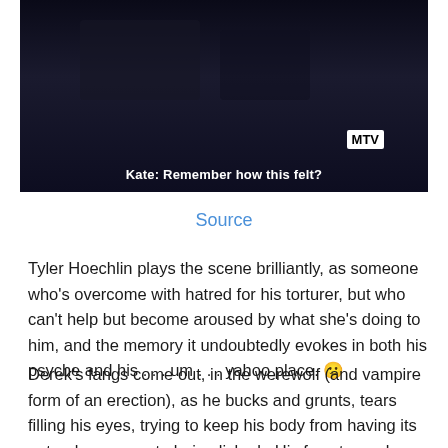[Figure (screenshot): Dark screenshot from MTV show with subtitle text 'Kate: Remember how this felt?' and MTV logo in upper right corner]
Source
Tyler Hoechlin plays the scene brilliantly, as someone who's overcome with hatred for his torturer, but who can't help but become aroused by what she's doing to him, and the memory it undoubtedly evokes in both his psyche and his . . . um . . . yahoo place. 🙂
Derek's fangs come out, in the werewolf (and vampire form of an erection), as he bucks and grunts, tears filling his eyes, trying to keep his body from having its natural response to being licked.  His face turns down toward the